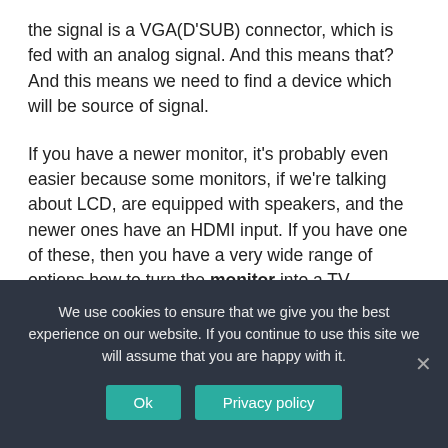the signal is a VGA(D'SUB) connector, which is fed with an analog signal. And this means that? And this means we need to find a device which will be source of signal.
If you have a newer monitor, it's probably even easier because some monitors, if we're talking about LCD, are equipped with speakers, and the newer ones have an HDMI input. If you have one of these, then you have a very wide range of options how to turn the monitor into a TV.
We use cookies to ensure that we give you the best experience on our website. If you continue to use this site we will assume that you are happy with it.